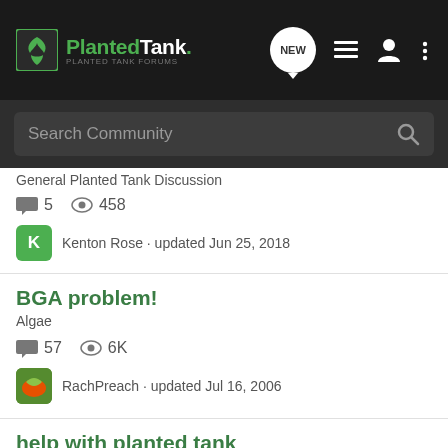Planted Tank · NEW · Search Community
General Planted Tank Discussion · 5 comments · 458 views · Kenton Rose · updated Jun 25, 2018
BGA problem!
Algae · 57 comments · 6K views · RachPreach · updated Jul 16, 2006
help with planted tank
Planted Nano Tanks